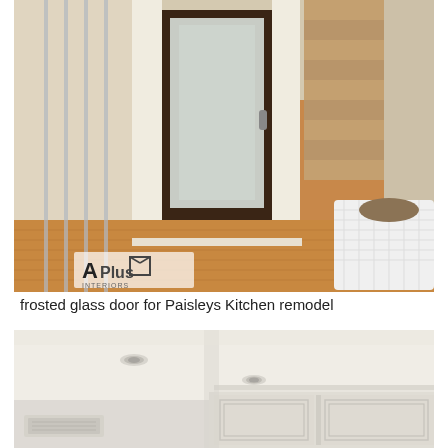[Figure (photo): Interior entryway photo showing a dark wood frosted glass door, hardwood floors, white columns, and a staircase. A white decorative basket is visible in the lower right. An 'APlus Interiors' watermark logo is visible in the lower left of the photo.]
frosted glass door for Paisleys Kitchen remodel
[Figure (photo): Interior kitchen photo showing white ceiling with recessed lighting and white upper kitchen cabinetry with raised panel doors.]